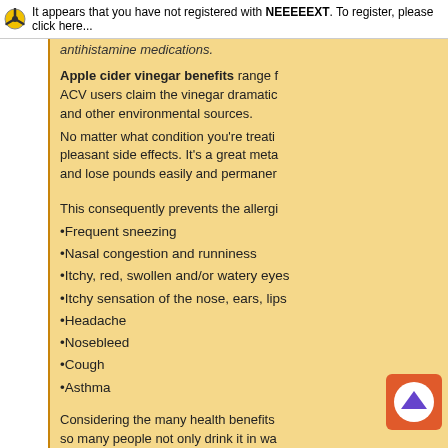It appears that you have not registered with NEEEEEXT. To register, please click here...
antihistamine medications.
Apple cider vinegar benefits range f... ACV users claim the vinegar dramatic... and other environmental sources. No matter what condition you're treati... pleasant side effects. It's a great meta... and lose pounds easily and permanen...
This consequently prevents the allergi...
•Frequent sneezing
•Nasal congestion and runniness
•Itchy, red, swollen and/or watery eyes
•Itchy sensation of the nose, ears, lips
•Headache
•Nosebleed
•Cough
•Asthma
Considering the many health benefits... so many people not only drink it in wa... many can be a fast answer to allergy i...